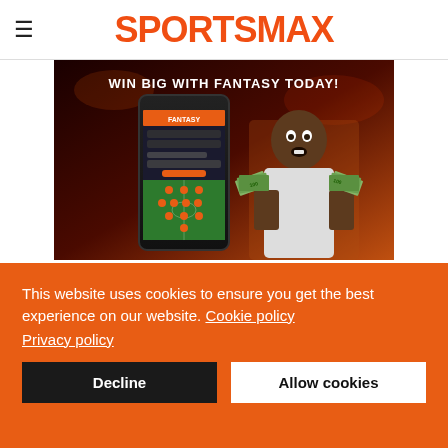≡ SPORTSMAX
[Figure (photo): SportsMax fantasy sports advertisement banner showing a smartphone with fantasy app interface, a man holding cash, and text 'WIN BIG WITH FANTASY TODAY!' on a dark red stadium background]
This website uses cookies to ensure you get the best experience on our website. Cookie policy
Privacy policy
Decline
Allow cookies